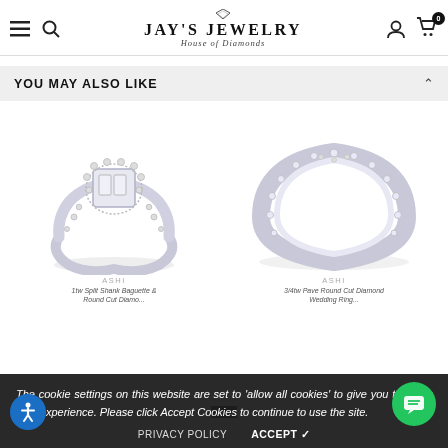JAY'S JEWELRY - House of Diamonds
YOU MAY ALSO LIKE
[Figure (photo): Diamond cluster halo engagement ring with baguette and round cut diamonds in white gold setting]
[Figure (photo): Slim diamond eternity band ring with round cut diamonds in white gold setting]
ASHI
ASHI
1tw Split Shank Baguette Round Cut Diamond...
3/4tw Pave Round Cut Diamond Wedding Ring...
The cookie settings on this website are set to 'allow all cookies' to give you the very best experience. Please click Accept Cookies to continue to use the site.
PRIVACY POLICY   ACCEPT ✓